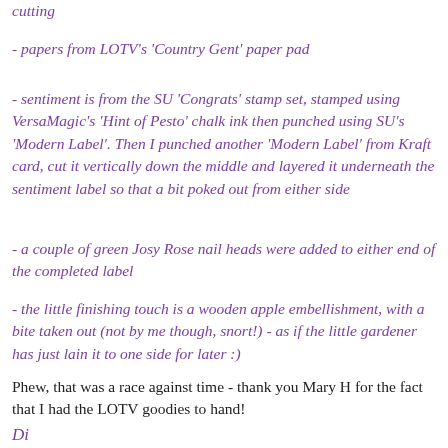cutting
- papers from LOTV's 'Country Gent' paper pad
- sentiment is from the SU 'Congrats' stamp set, stamped using VersaMagic's 'Hint of Pesto' chalk ink then punched using SU's 'Modern Label'. Then I punched another 'Modern Label' from Kraft card, cut it vertically down the middle and layered it underneath the sentiment label so that a bit poked out from either side
- a couple of green Josy Rose nail heads were added to either end of the completed label
- the little finishing touch is a wooden apple embellishment, with a bite taken out (not by me though, snort!) - as if the little gardener has just lain it to one side for later :)
Phew, that was a race against time - thank you Mary H for the fact that I had the LOTV goodies to hand!
Di